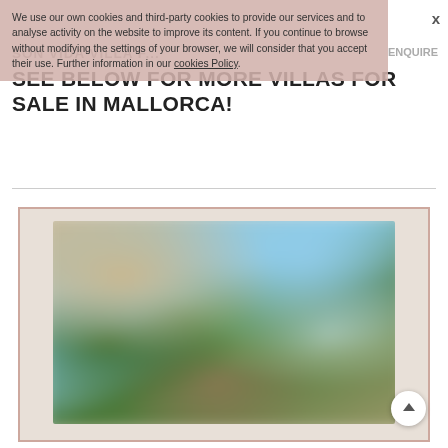We use our own cookies and third-party cookies to provide our services and to analyse activity on the website to improve its content. If you continue to browse without modifying the settings of your browser, we will consider that you accept their use. Further information in our cookies Policy.
SON VIDA VILLA F... SEE BELOW FOR MORE VILLAS FOR SALE IN MALLORCA!
[Figure (photo): Blurred exterior photo of a villa property in Mallorca, showing greenery, sky, and outdoor terrace area]
X